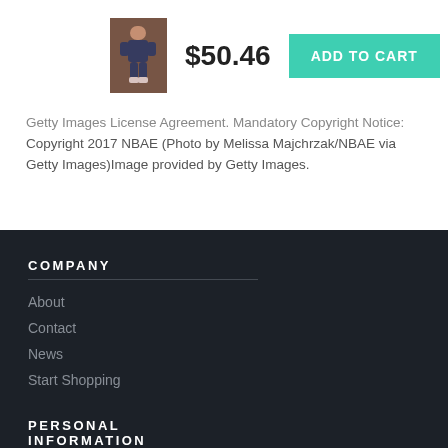[Figure (photo): Thumbnail photo of a basketball player in action on the court]
$50.46
ADD TO CART
Getty Images License Agreement. Mandatory Copyright Notice: Copyright 2017 NBAE (Photo by Melissa Majchrzak/NBAE via Getty Images)Image provided by Getty Images.
COMPANY
About
Contact
News
Start Shopping
PERSONAL INFORMATION
Do Not Sell My Personal Information